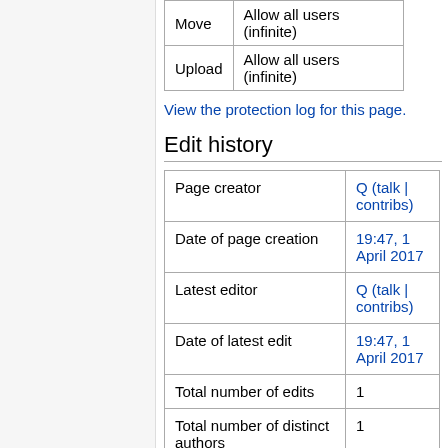| Move | Allow all users (infinite) |
| Upload | Allow all users (infinite) |
View the protection log for this page.
Edit history
| Page creator | Q (talk | contribs) |
| Date of page creation | 19:47, 1 April 2017 |
| Latest editor | Q (talk | contribs) |
| Date of latest edit | 19:47, 1 April 2017 |
| Total number of edits | 1 |
| Total number of distinct authors | 1 |
| Recent number of edits |  |